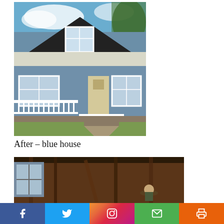[Figure (photo): Exterior photo of a renovated blue house with white porch railing, front door, windows, and front yard]
After – blue house
[Figure (photo): Interior construction photo showing wooden framing, studs, and a person wearing a hat working inside the house]
[Figure (infographic): Social media sharing bar with Facebook, Twitter, Instagram, Email, and Print buttons]